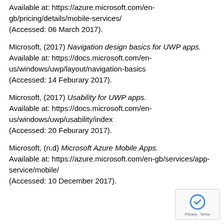Available at: https://azure.microsoft.com/en-gb/pricing/details/mobile-services/ (Accessed: 06 March 2017).
Microsoft, (2017) Navigation design basics for UWP apps. Available at: https://docs.microsoft.com/en-us/windows/uwp/layout/navigation-basics (Accessed: 14 Feburary 2017).
Microsoft, (2017) Usability for UWP apps. Available at: https://docs.microsoft.com/en-us/windows/uwp/usability/index (Accessed: 20 Feburary 2017).
Microsoft, (n.d) Microsoft Azure Mobile Apps. Available at: https://azure.microsoft.com/en-gb/services/app-service/mobile/ (Accessed: 10 December 2017).